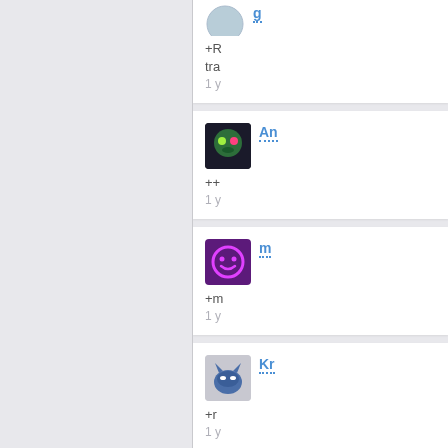[Figure (screenshot): Social media comment section showing a two-column layout. Left panel is a light gray background. Right panel shows four partially visible comment cards. Card 1 (partial, top): avatar of person 'g', text '+R', 'tra', timestamp '1 y'. Card 2: avatar 'An' (green comic character), username 'An' in blue dotted underline, text '++', timestamp '1 y'. Card 3: avatar 'm' (purple smiley face icon), username 'm' in blue dotted underline, text '+m', timestamp '1 y'. Card 4: avatar 'Kr' (Batman), username 'Kr' in blue dotted underline, text '+r', timestamp '1 y'.]